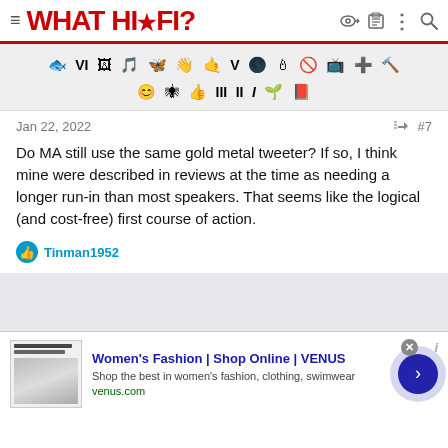WHAT HI·FI? — website header with navigation icons
[Figure (screenshot): Emoji/icon toolbar with various reaction and formatting icons]
Jan 22, 2022  #7
Do MA still use the same gold metal tweeter? If so, I think mine were described in reviews at the time as needing a longer run-in than most speakers. That seems like the logical (and cost-free) first course of action.
Tinman1952
[Figure (screenshot): Advertisement: Women's Fashion | Shop Online | VENUS — Shop the best in women's fashion, clothing, swimwear — venus.com]